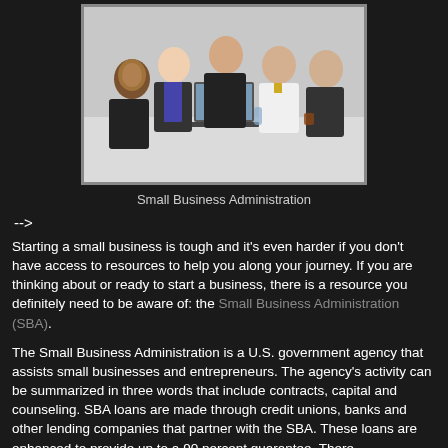[Figure (photo): Business meeting photo showing five professionals in suits gathered around a table with a laptop]
Small Business Administration
-->
Starting a small business is tough and it's even harder if you don't have access to resources to help you along your journey.  If you are thinking about or ready to start a business, there is a resource you definitely need to be aware of: the Small Business Administration (SBA).
The Small Business Administration is a U.S. government agency that assists small businesses and entrepreneurs. The agency's activity can be summarized in three words that include contracts, capital and counseling. SBA loans are made through credit unions, banks and other lending companies that partner with the SBA. These loans are enhanced to provide up to a 90 percent guarantee. There